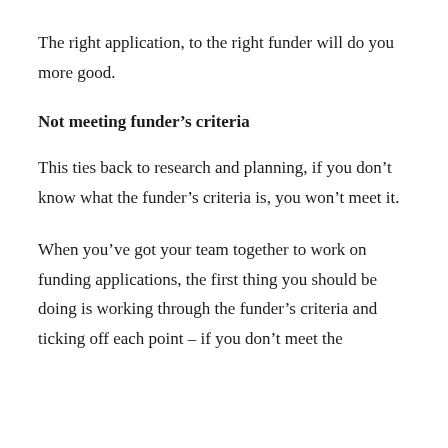The right application, to the right funder will do you more good.
Not meeting funder’s criteria
This ties back to research and planning, if you don’t know what the funder’s criteria is, you won’t meet it.
When you’ve got your team together to work on funding applications, the first thing you should be doing is working through the funder’s criteria and ticking off each point – if you don’t meet the